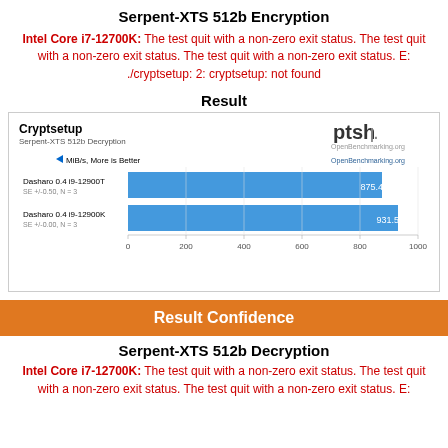Serpent-XTS 512b Encryption
Intel Core i7-12700K: The test quit with a non-zero exit status. The test quit with a non-zero exit status. The test quit with a non-zero exit status. E: ./cryptsetup: 2: cryptsetup: not found
Result
[Figure (bar-chart): Cryptsetup - Serpent-XTS 512b Decryption]
Result Confidence
Serpent-XTS 512b Decryption
Intel Core i7-12700K: The test quit with a non-zero exit status. The test quit with a non-zero exit status. The test quit with a non-zero exit status. E: